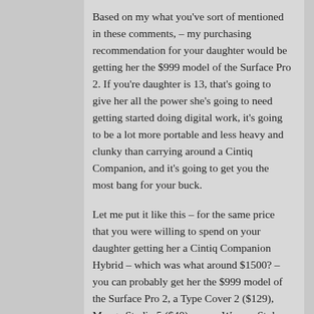Based on my what you've sort of mentioned in these comments, – my purchasing recommendation for your daughter would be getting her the $999 model of the Surface Pro 2. If you're daughter is 13, that's going to give her all the power she's going to need getting started doing digital work, it's going to be a lot more portable and less heavy and clunky than carrying around a Cintiq Companion, and it's going to get you the most bang for your buck.
Let me put it like this – for the same price that you were willing to spend on your daughter getting her a Cintiq Companion Hybrid – which was what around $1500? – you can probably get her the $999 model of the Surface Pro 2, a Type Cover 2 ($129), Manga Studio 5 ($40), a new Wacom Stylus for it, which is recommended ($40-$80), and any other accessories you might need for it for her and you'd still come in under the price of the